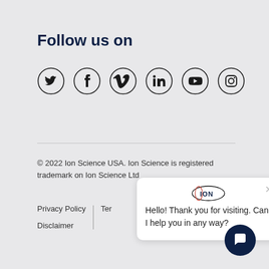Follow us on
[Figure (illustration): Six social media icons in circles: Twitter, Facebook, Vimeo, LinkedIn, YouTube, Instagram]
© 2022 Ion Science USA. Ion Science is registered trademark on Ion Science Ltd
Privacy Policy | Terms | Disclaimer
[Figure (screenshot): Chat popup with ION logo, close button, and message: Hello! Thank you for visiting. Can I help you in any way?]
[Figure (illustration): Dark navy chat button with speech bubble icon in bottom right corner]